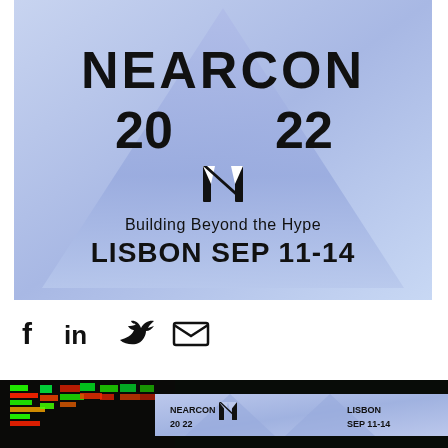[Figure (logo): NEARCON 2022 event logo with blue/lavender triangle background, NEAR protocol logo, tagline 'Building Beyond the Hype', location and date 'LISBON SEP 11-14']
[Figure (illustration): Social media sharing icons: Facebook (f), LinkedIn (in), Twitter bird, Email envelope]
[Figure (photo): Bottom strip showing a colorful tech/conference photo with neon green and red lighting on the left side, and a blue-tinted photo on the right side, with a mini NEARCON 2022 banner overlay showing 'NEARCON 20 22', NEAR logo, 'LISBON SEP 11-14']